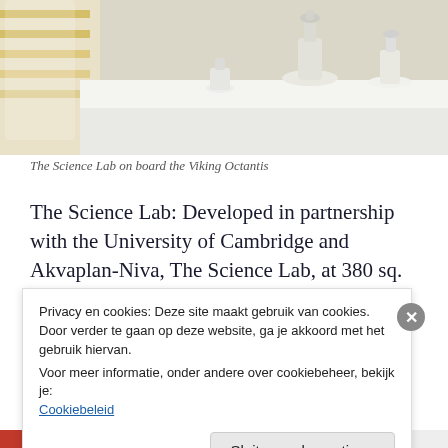[Figure (photo): Interior photo of The Science Lab on board the Viking Octantis, showing white lab benches with microscopes and scientific instruments under bright lighting.]
The Science Lab on board the Viking Octantis
The Science Lab: Developed in partnership with the University of Cambridge and Akvaplan-Niva, The Science Lab, at 380 sq. ft., is designed to support a broad range of research activities and is equipped with wet and dry laboratory
Privacy en cookies: Deze site maakt gebruik van cookies. Door verder te gaan op deze website, ga je akkoord met het gebruik hiervan.
Voor meer informatie, onder andere over cookiebeheer, bekijk je: Cookiebeleid
Sluiten en bevestigen